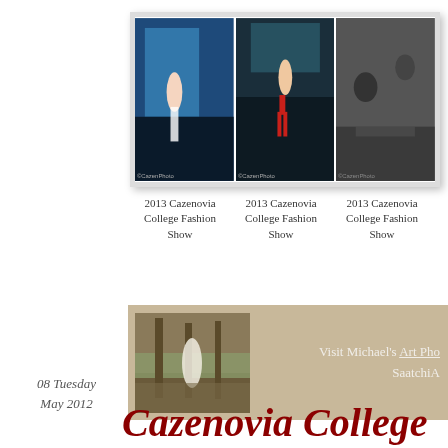[Figure (photo): Three fashion show photos side by side: a model on a runway with blue backdrop, a model in red pants on runway, and a black-and-white backstage scene]
2013 Cazenovia College Fashion Show
2013 Cazenovia College Fashion Show
2013 Cazenovia College Fashion Show
[Figure (photo): Banner with a photo of a person in a white dress among trees in autumn forest, with text: Visit Michael's Art Pho... SaatchiA...]
Visit Michael's Art Pho... SaatchiA...
08 Tuesday
May 2012
Cazenovia College